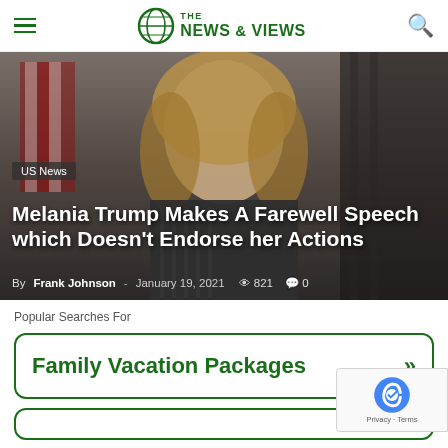THE NEWS & VIEWS
[Figure (photo): Blonde woman in dark patterned jacket standing in front of an American flag and curtains]
US News
Melania Trump Makes A Farewell Speech which Doesn't Endorse her Actions
By Frank Johnson - January 19, 2021  821  0
Popular Searches For
Family Vacation Packages